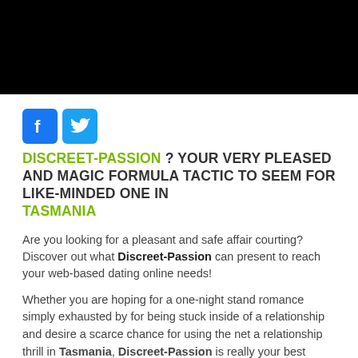[Figure (other): Black banner bar at top of page]
[Figure (logo): Facebook and Twitter social media icon buttons]
DISCREET-PASSION ? YOUR VERY PLEASED AND MAGIC FORMULA TACTIC TO SEEM FOR LIKE-MINDED ONE IN TASMANIA
Are you looking for a pleasant and safe affair courting? Discover out what Discreet-Passion can present to reach your web-based dating online needs!
Whether you are hoping for a one-night stand romance simply exhausted by for being stuck inside of a relationship and desire a scarce chance for using the net a relationship thrill in Tasmania, Discreet-Passion is really your best option . With countless of superior characteristics and internet dating products and services out there, you'll check with for no extra. In addition, it is safe and